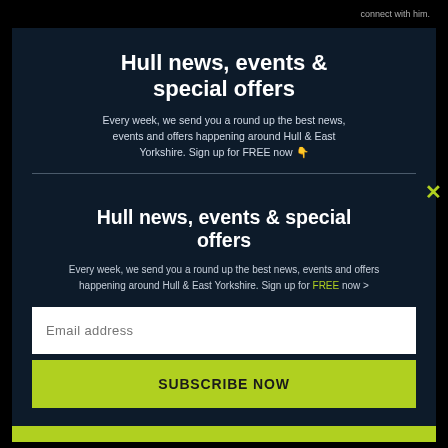connect with him.
Hull news, events & special offers
Every week, we send you a round up the best news, events and offers happening around Hull & East Yorkshire. Sign up for FREE now 👇
Hull news, events & special offers
Every week, we send you a round up the best news, events and offers happening around Hull & East Yorkshire. Sign up for FREE now >
Email address
SUBSCRIBE NOW